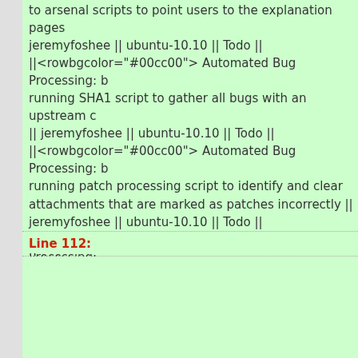to arsenal scripts to point users to the explanation pages jeremyfoshee || ubuntu-10.10 || Todo || ||<rowbgcolor="#00cc00"> Automated Bug Processing: b running SHA1 script to gather all bugs with an upstream c || jeremyfoshee || ubuntu-10.10 || Todo || ||<rowbgcolor="#00cc00"> Automated Bug Processing: b running patch processing script to identify and clear attachments that are marked as patches incorrectly || jeremyfoshee || ubuntu-10.10 || Todo || ||<rowbgcolor="#00cc00"> Automated Bug Processing: determine what is needed to identify bugs that can be 'carpetbombed' over the release cycle to test for fixed issu jeremyfoshee || ubuntu-10.10 || Todo ||
Line 112: